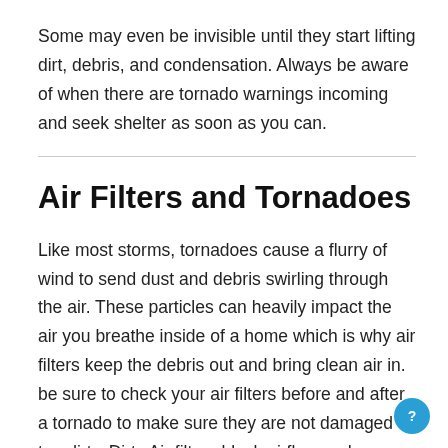Some may even be invisible until they start lifting dirt, debris, and condensation. Always be aware of when there are tornado warnings incoming and seek shelter as soon as you can.
Air Filters and Tornadoes
Like most storms, tornadoes cause a flurry of wind to send dust and debris swirling through the air. These particles can heavily impact the air you breathe inside of a home which is why air filters keep the debris out and bring clean air in. be sure to check your air filters before and after a tornado to make sure they are not damaged or too dirty. Dirty Air filters block airflow and can lead to